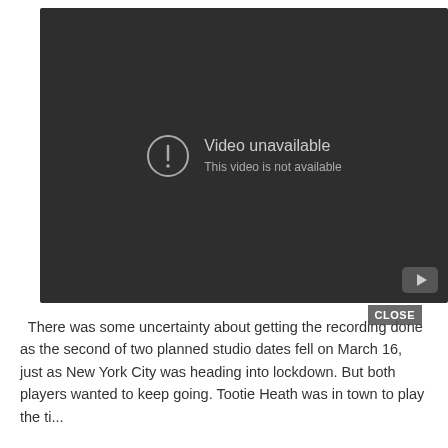[Figure (screenshot): Embedded video player showing 'Video unavailable — This video is not available' error message on a dark background, with a YouTube logo button in the bottom-right corner and a CLOSE button overlay.]
There was some uncertainty about getting the recording done as the second of two planned studio dates fell on March 16, just as New York City was heading into lockdown. But both players wanted to keep going. Tootie Heath was in town to play the ti...